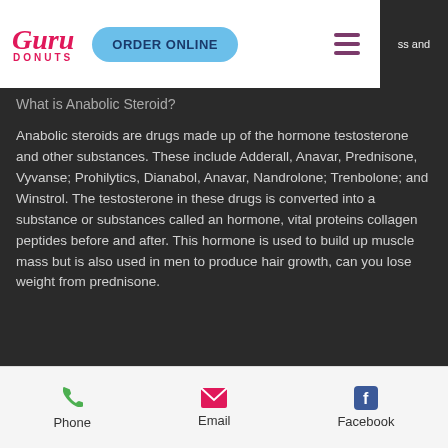[Figure (logo): Guru Donuts logo in pink cursive with ORDER ONLINE blue pill button and hamburger menu]
What is Anabolic Steroid?
Anabolic steroids are drugs made up of the hormone testosterone and other substances. These include Adderall, Anavar, Prednisone, Vyvanse; Prohilytics, Dianabol, Anavar, Nandrolone; Trenbolone; and Winstrol. The testosterone in these drugs is converted into a substance or substances called an hormone, vital proteins collagen peptides before and after. This hormone is used to build up muscle mass but is also used in men to produce hair growth, can you lose weight from prednisone.
Phone   Email   Facebook